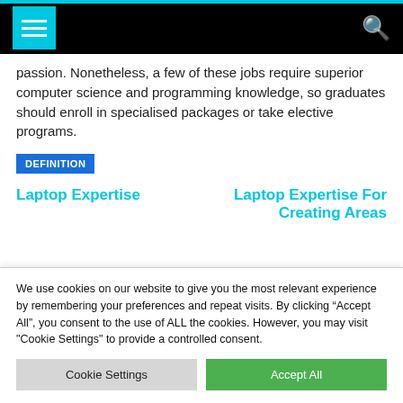Navigation bar with hamburger menu and search icon
passion. Nonetheless, a few of these jobs require superior computer science and programming knowledge, so graduates should enroll in specialised packages or take elective programs.
DEFINITION
Laptop Expertise
Laptop Expertise For Creating Areas
We use cookies on our website to give you the most relevant experience by remembering your preferences and repeat visits. By clicking "Accept All", you consent to the use of ALL the cookies. However, you may visit "Cookie Settings" to provide a controlled consent.
Cookie Settings
Accept All